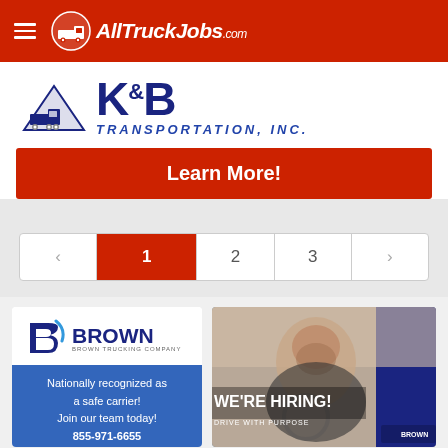AllTruckJobs.com
[Figure (logo): K&B Transportation, Inc. logo with truck graphic and mountain]
Learn More!
1  2  3
[Figure (infographic): Brown Trucking Company ad - Nationally recognized as a safe carrier! Join our team today! 855-971-6655]
[Figure (photo): Brown Trucking WE'RE HIRING! Drive with purpose ad with smiling truck driver]